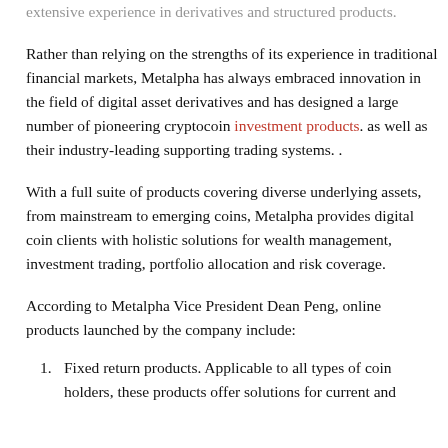extensive experience in derivatives and structured products.
Rather than relying on the strengths of its experience in traditional financial markets, Metalpha has always embraced innovation in the field of digital asset derivatives and has designed a large number of pioneering cryptocoin investment products. as well as their industry-leading supporting trading systems. .
With a full suite of products covering diverse underlying assets, from mainstream to emerging coins, Metalpha provides digital coin clients with holistic solutions for wealth management, investment trading, portfolio allocation and risk coverage.
According to Metalpha Vice President Dean Peng, online products launched by the company include:
Fixed return products. Applicable to all types of coin holders, these products offer solutions for current and